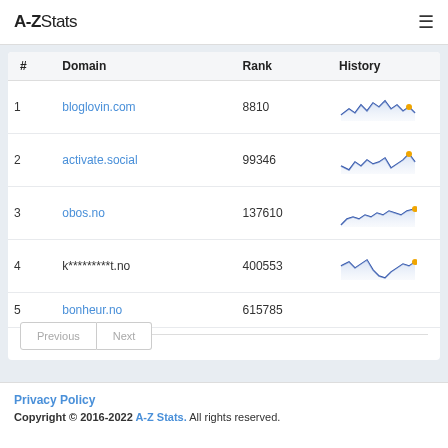A-ZStats
| # | Domain | Rank | History |
| --- | --- | --- | --- |
| 1 | bloglovin.com | 8810 | [sparkline] |
| 2 | activate.social | 99346 | [sparkline] |
| 3 | obos.no | 137610 | [sparkline] |
| 4 | k*********t.no | 400553 | [sparkline] |
| 5 | bonheur.no | 615785 |  |
Previous  Next
Privacy Policy
Copyright © 2016-2022 A-Z Stats. All rights reserved.